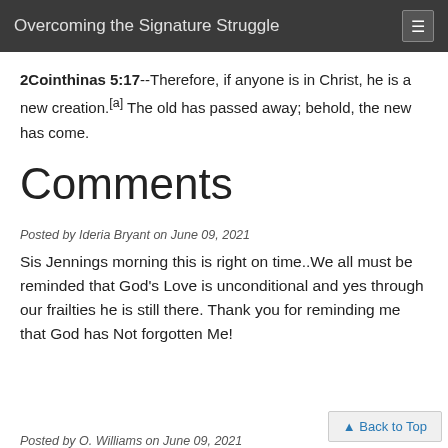Overcoming the Signature Struggle
2Cointhinas 5:17--Therefore, if anyone is in Christ, he is a new creation.[a] The old has passed away; behold, the new has come.
Comments
Posted by Ideria Bryant on June 09, 2021
Sis Jennings morning this is right on time..We all must be reminded that God's Love is unconditional and yes through our frailties he is still there. Thank you for reminding me that God has Not forgotten Me!
Posted by O. Williams on June 09, 2021